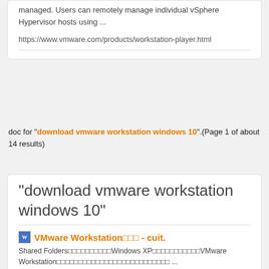managed. Users can remotely manage individual vSphere Hypervisor hosts using ...
https://www.vmware.com/products/workstation-player.html
doc for "download vmware workstation windows 10".(Page 1 of about 14 results)
"download vmware workstation windows 10"
VMware Workstation□□□ - cuit.
Shared Folders□□□□□□□□□□Windows XP□□□□□□□□□□□VMware Workstation□□□□□□□□□□□□□□□□□□□□□□□□□□ ...